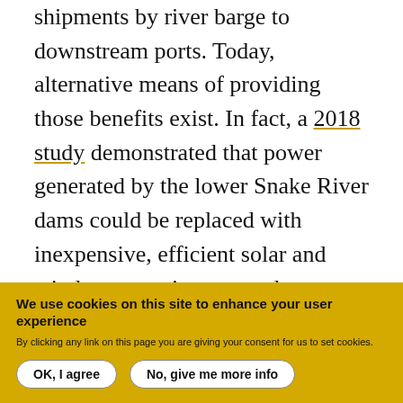shipments by river barge to downstream ports. Today, alternative means of providing those benefits exist. In fact, a 2018 study demonstrated that power generated by the lower Snake River dams could be replaced with inexpensive, efficient solar and wind power using currently available technology.

What does not exist, Masonis said, is an alternative to removing the four lower Snake River dams that will enable salmon and steelhead to recover.
We use cookies on this site to enhance your user experience
By clicking any link on this page you are giving your consent for us to set cookies.
[OK, I agree] [No, give me more info]